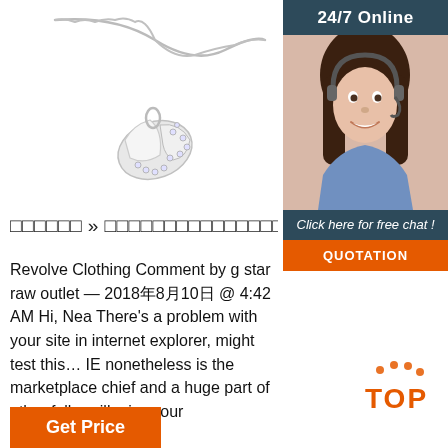[Figure (photo): Silver necklace with decorative pendant featuring crystals and mother of pearl, on a white background]
[Figure (photo): 24/7 Online customer service sidebar with photo of female agent wearing headset, 'Click here for free chat!' text, and orange QUOTATION button]
□□□□□□ » □□□□□□□□□□□□□□□
Revolve Clothing Comment by g star raw outlet — 2018年8月10日 @ 4:42 AM Hi, Nea There's a problem with your site in internet explorer, might test this… IE nonetheless is the marketplace chief and a huge part of other folks will miss your
[Figure (logo): Orange TOP badge/logo with paw print dots]
Get Price